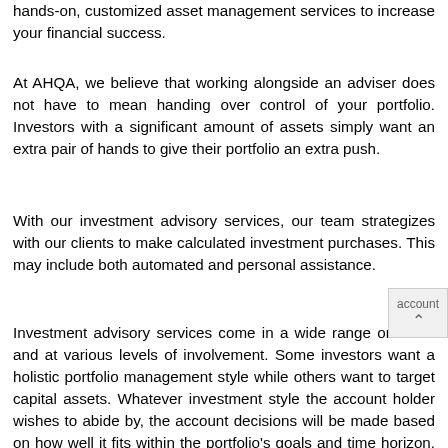hands-on, customized asset management services to increase your financial success.
At AHQA, we believe that working alongside an adviser does not have to mean handing over control of your portfolio. Investors with a significant amount of assets simply want an extra pair of hands to give their portfolio an extra push.
With our investment advisory services, our team strategizes with our clients to make calculated investment purchases. This may include both automated and personal assistance.
Investment advisory services come in a wide range or forms and at various levels of involvement. Some investors want a holistic portfolio management style while others want to target capital assets. Whatever investment style the account holder wishes to abide by, the account decisions will be made based on how well it fits within the portfolio's goals and time horizon. AHQA's investment